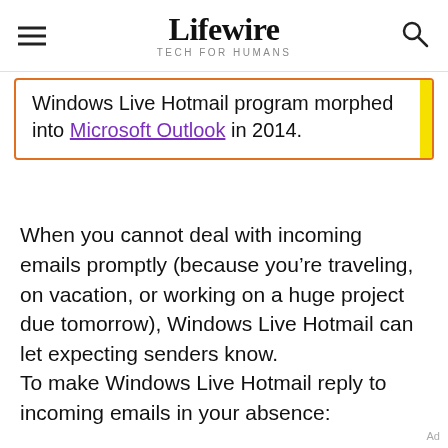Lifewire TECH FOR HUMANS
Windows Live Hotmail program morphed into Microsoft Outlook in 2014.
When you cannot deal with incoming emails promptly (because you’re traveling, on vacation, or working on a huge project due tomorrow), Windows Live Hotmail can let expecting senders know.
To make Windows Live Hotmail reply to incoming emails in your absence: